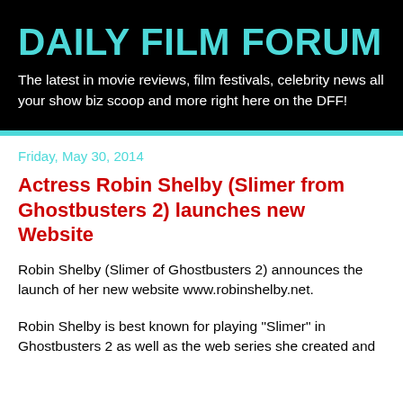DAILY FILM FORUM
The latest in movie reviews, film festivals, celebrity news all your show biz scoop and more right here on the DFF!
Friday, May 30, 2014
Actress Robin Shelby (Slimer from Ghostbusters 2) launches new Website
Robin Shelby (Slimer of Ghostbusters 2) announces the launch of her new website www.robinshelby.net.
Robin Shelby is best known for playing "Slimer" in Ghostbusters 2 as well as the web series she created and